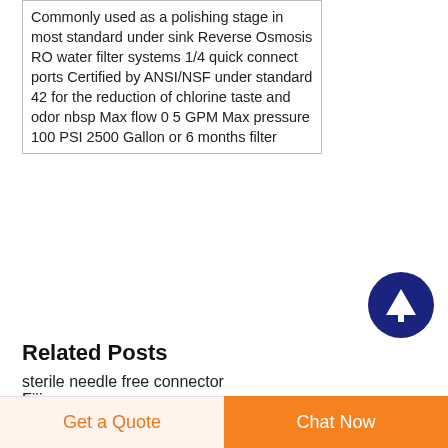Commonly used as a polishing stage in most standard under sink Reverse Osmosis RO water filter systems 1/4 quick connect ports Certified by ANSI/NSF under standard 42 for the reduction of chlorine taste and odor nbsp Max flow 0 5 GPM Max pressure 100 PSI 2500 Gallon or 6 months filter
[Figure (other): Dark blue circular button with white upward arrow icon (scroll to top button)]
Related Posts
sterile needle free connector
Fiji
supplies for manufacturing
Get a Quote   Chat Now